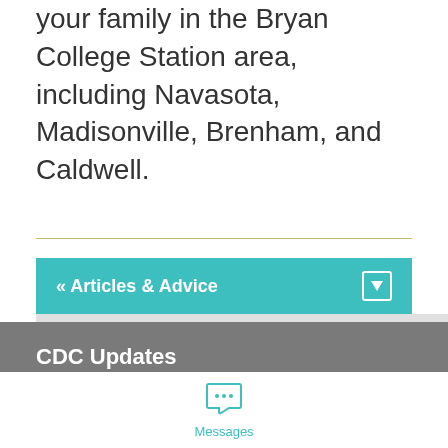your family in the Bryan College Station area, including Navasota, Madisonville, Brenham, and Caldwell.
« Articles & Advice
CDC Updates
We use cookies to personalize your experience on our site. To find out more, please read our data policy.
Messages